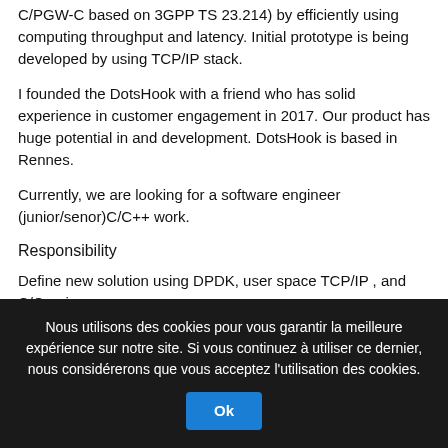C/PGW-C based on 3GPP TS 23.214) by efficiently using computing throughput and latency. Initial prototype is being developed by using TCP/IP stack.
I founded the DotsHook with a friend who has solid experience in customer engagement in 2017. Our product has huge potential in and development. DotsHook is based in Rennes.
Currently, we are looking for a software engineer (junior/senor)C/C++ work.
Responsibility
Define new solution using DPDK, user space TCP/IP , and C/C++ in
Develop software module and features quickly.
Able to make test cases.
Use debugging tools wherever needed.
Share your knowledge among team members.
Qualification
Creative and talented software engineer.
Experience in large scale software development.
Nous utilisons des cookies pour vous garantir la meilleure expérience sur notre site. Si vous continuez à utiliser ce dernier, nous considérerons que vous acceptez l'utilisation des cookies.